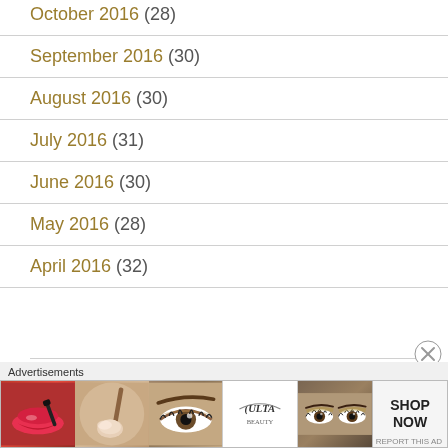October 2016 (28)
September 2016 (30)
August 2016 (30)
July 2016 (31)
June 2016 (30)
May 2016 (28)
April 2016 (32)
[Figure (illustration): ULTA beauty advertisement banner with images of lips, makeup brush, eye with eyeshadow, ULTA logo, close-up eyes, and SHOP NOW button]